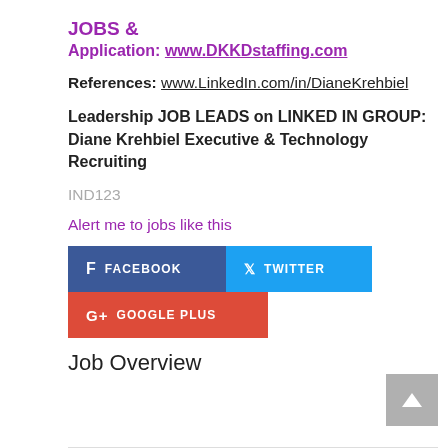JOBS &
Application: www.DKKDstaffing.com
References: www.LinkedIn.com/in/DianeKrehbiel
Leadership JOB LEADS on LINKED IN GROUP: Diane Krehbiel Executive & Technology Recruiting
IND123
Alert me to jobs like this
[Figure (infographic): Social sharing buttons: Facebook (dark blue), Twitter (light blue), Google Plus (red)]
Job Overview